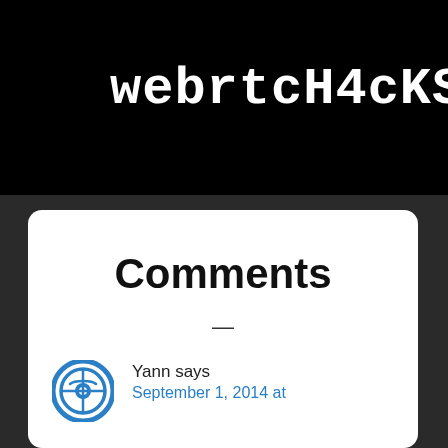webrtcH4cKS:~$
≡ MENU
Comments
—
Yann says
September 1, 2014 at